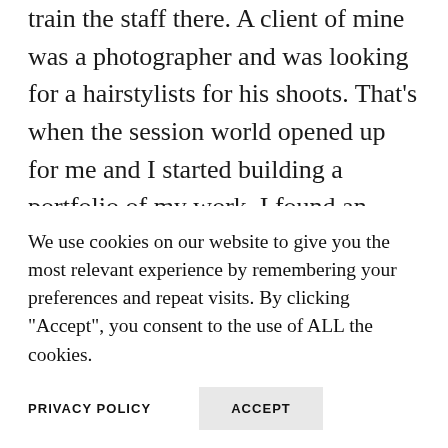train the staff there. A client of mine was a photographer and was looking for a hairstylists for his shoots. That's when the session world opened up for me and I started building a portfolio of my work. I found an agency in London and started making a living from photoshoots and videos but my passion for educating has always stayed with me. I decided to open an academy to teach others how to have
We use cookies on our website to give you the most relevant experience by remembering your preferences and repeat visits. By clicking "Accept", you consent to the use of ALL the cookies.
PRIVACY POLICY
ACCEPT